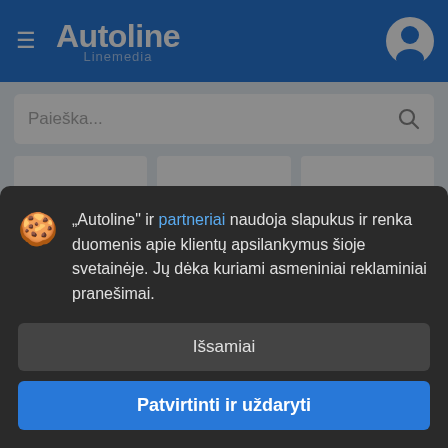Autoline Linemedia
Paieška...
[Figure (screenshot): Three white card placeholders in a light blue grid area]
„Autoline" ir partneriai naudoja slapukus ir renka duomenis apie klientų apsilankymus šioje svetainėje. Jų dėka kuriami asmeniniai reklaminiai pranešimai.
DAP CF... kaina pa... Sunkvežimis furgon..., Transporto ašis: 5200 kg, Eu... standartas: Euro 3, Metai: 2010...05, Šalis: Niderlandai, ← Belgija, MARCHIES
Išsamiai
Patvirtinti ir uždaryti